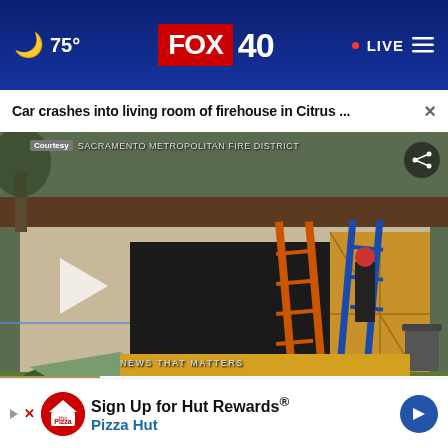🌙 75° | FOX 40 | LIVE
Car crashes into living room of firehouse in Citrus ... ×
[Figure (screenshot): News video thumbnail showing a firehouse exterior with damaged front window/wall. Workers with orange and blue ladders work on the structure. Plywood boards are placed over the damaged wall. Lower third graphic reads: 'NEWS THAT MATTERS / CAR SLAMS INTO FIREHOUSE / CITRUS HEIGHTS'. A play button overlay and courtesy tag from Sacramento Metropolitan Fire District appear on the image.]
Sacramento Police investigating fatal assault
Sign Up for Hut Rewards® Pizza Hut